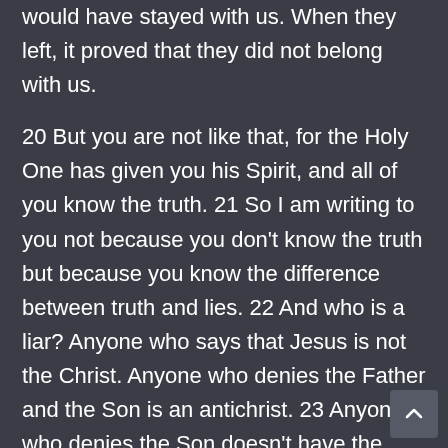but they never really belonged with us, otherwise they would have stayed with us. When they left, it proved that they did not belong with us.
20 But you are not like that, for the Holy One has given you his Spirit, and all of you know the truth. 21 So I am writing to you not because you don't know the truth but because you know the difference between truth and lies. 22 And who is a liar? Anyone who says that Jesus is not the Christ. Anyone who denies the Father and the Son is an antichrist. 23 Anyone who denies the Son doesn't have the Father, either. But anyone who acknowledges the Son has the Father also.